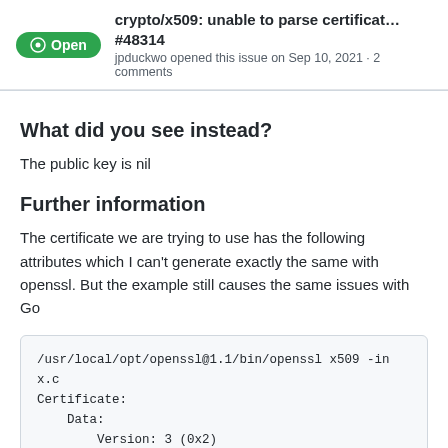crypto/x509: unable to parse certificat... #48314
jpduckwo opened this issue on Sep 10, 2021 · 2 comments
What did you see instead?
The public key is nil
Further information
The certificate we are trying to use has the following attributes which I can't generate exactly the same with openssl. But the example still causes the same issues with Go
/usr/local/opt/openssl@1.1/bin/openssl x509 -in x.c
Certificate:
    Data:
        Version: 3 (0x2)
        Serial Number:

            ...
        Signature Algorithm: sha256WithRSAEncryptio
        Issuer: ...
        Validity